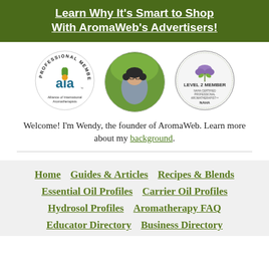[Figure (other): Green banner with white bold underlined text: Learn Why It's Smart to Shop With AromaWeb's Advertisers!]
[Figure (other): Three circular badges/images: AIA Professional Member logo, photo of Wendy (founder), NAHA Level 2 Member certified professional aromatherapist badge]
Welcome! I'm Wendy, the founder of AromaWeb. Learn more about my background.
Home   Guides & Articles   Recipes & Blends
Essential Oil Profiles   Carrier Oil Profiles
Hydrosol Profiles   Aromatherapy FAQ
Educator Directory   Business Directory